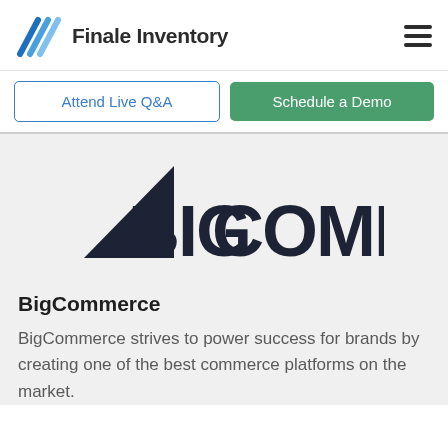[Figure (logo): Finale Inventory logo with blue diagonal lines icon and text 'Finale Inventory']
[Figure (logo): Hamburger menu icon (three horizontal lines)]
Attend Live Q&A
Schedule a Demo
[Figure (logo): BigCommerce logo: dark navy triangle/arrow shape on the left with text 'BIGCOMMERCE' in bold dark navy]
BigCommerce
BigCommerce strives to power success for brands by creating one of the best commerce platforms on the market.